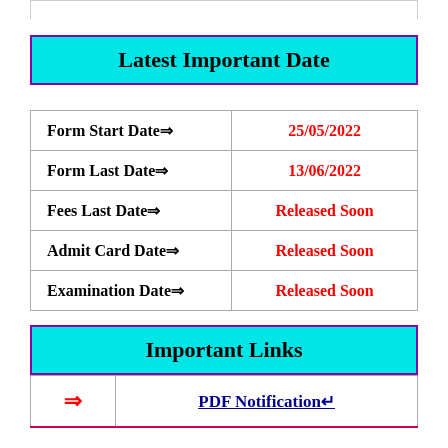Latest Important Date
| Field | Value |
| --- | --- |
| Form Start Date⇒ | 25/05/2022 |
| Form Last Date⇒ | 13/06/2022 |
| Fees Last Date⇒ | Released Soon |
| Admit Card Date⇒ | Released Soon |
| Examination Date⇒ | Released Soon |
Important Links
|  | Link |
| --- | --- |
| ⇒ | PDF Notification↵ |